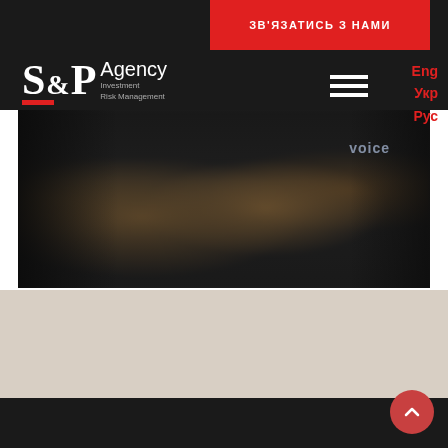S&P Agency Investment Risk Management
ЗВ'ЯЗАТИСЬ З НАМИ
Eng Укр Рус
[Figure (photo): Dark-toned photo of people seated at a dining/conference table with food and drinks, partially obscured by dark vignette overlay]
Back to top button